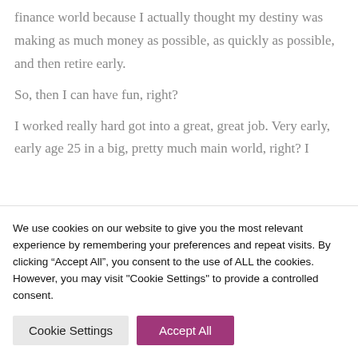finance world because I actually thought my destiny was making as much money as possible, as quickly as possible, and then retire early.
So, then I can have fun, right?
I worked really hard got into a great, great job. Very early, early age 25 in a big, pretty much main world, right? I
We use cookies on our website to give you the most relevant experience by remembering your preferences and repeat visits. By clicking “Accept All”, you consent to the use of ALL the cookies. However, you may visit "Cookie Settings" to provide a controlled consent.